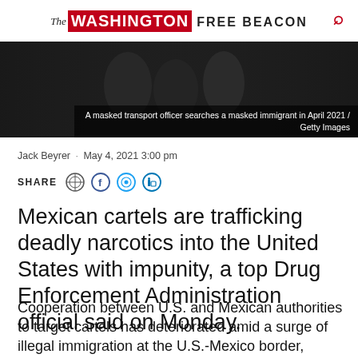The Washington Free Beacon
[Figure (photo): A masked transport officer searches a masked immigrant in April 2021 / Getty Images]
A masked transport officer searches a masked immigrant in April 2021 / Getty Images
Jack Beyrer · May 4, 2021 3:00 pm
SHARE
Mexican cartels are trafficking deadly narcotics into the United States with impunity, a top Drug Enforcement Administration official said on Monday.
Cooperation between U.S. and Mexican authorities to target cartels has deteriorated amid a surge of illegal immigration at the U.S.-Mexico border, Matthew Donahue, the DEA